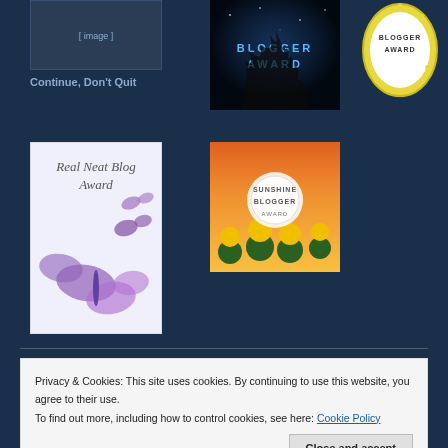[Figure (photo): Partial image top left (cropped blogger award image)]
Continue, Don't Quit
[Figure (photo): Blogger Award dark night sky image]
[Figure (photo): Blogger Award round badge with yellow border]
[Figure (photo): Real Neat Blog Award with butterflies on white background]
[Figure (photo): Sunshine Blogger Award with sunflowers background]
Privacy & Cookies: This site uses cookies. By continuing to use this website, you agree to their use.
To find out more, including how to control cookies, see here: Cookie Policy
Close and accept